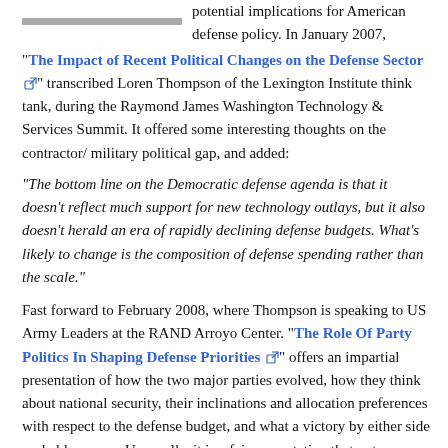potential implications for American defense policy. In January 2007, “The Impact of Recent Political Changes on the Defense Sector” transcribed Loren Thompson of the Lexington Institute think tank, during the Raymond James Washington Technology & Services Summit. It offered some interesting thoughts on the contractor/ military political gap, and added:
“The bottom line on the Democratic defense agenda is that it doesn’t reflect much support for new technology outlays, but it also doesn’t herald an era of rapidly declining defense budgets. What’s likely to change is the composition of defense spending rather than the scale.”
Fast forward to February 2008, where Thompson is speaking to US Army Leaders at the RAND Arroyo Center. “The Role Of Party Politics In Shaping Defense Priorities” offers an impartial presentation of how the two major parties evolved, how they think about national security, their inclinations and allocation preferences with respect to the defense budget, and what a victory by either side probably means. Unusually, it is a fair presentation that puts forward each party’s broad view